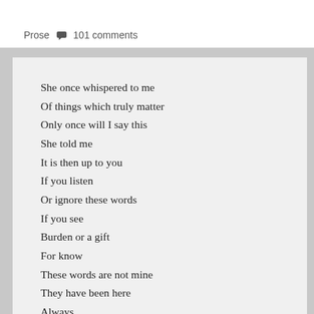Prose  101 comments
She once whispered to me
Of things which truly matter
Only once will I say this
She told me
It is then up to you
If you listen
Or ignore these words
If you see
Burden or a gift
For know
These words are not mine
They have been here
Always
Echoing through time
A beacon of hope